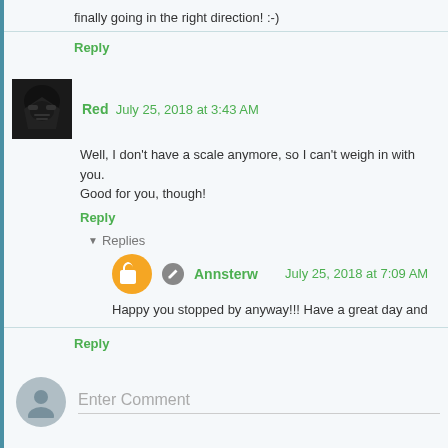finally going in the right direction! :-)
Reply
Red  July 25, 2018 at 3:43 AM
Well, I don't have a scale anymore, so I can't weigh in with you. Good for you, though!
Reply
▾ Replies
Annsterw  July 25, 2018 at 7:09 AM
Happy you stopped by anyway!!! Have a great day and
Reply
Enter Comment